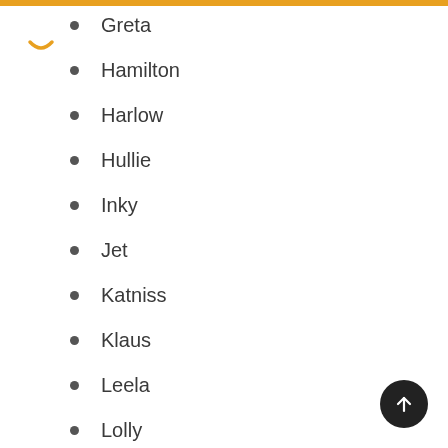Greta
Hamilton
Harlow
Hullie
Inky
Jet
Katniss
Klaus
Leela
Lolly
Lynx
Mable